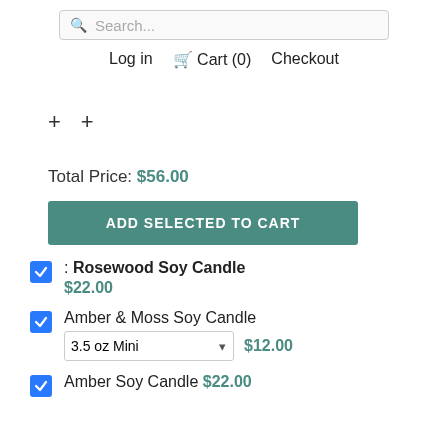Search... Log in Cart (0) Checkout
+ +
Total Price: $56.00
ADD SELECTED TO CART
: Rosewood Soy Candle $22.00
Amber & Moss Soy Candle 3.5 oz Mini $12.00
Amber Soy Candle $22.00